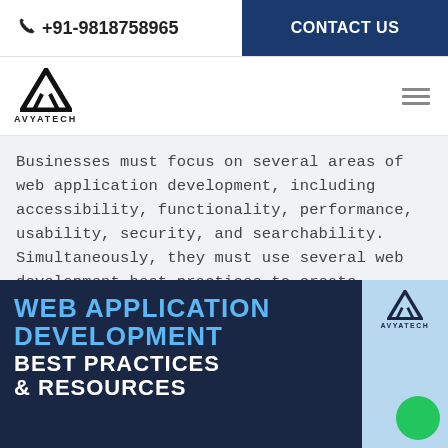+91-9818758965   CONTACT US
[Figure (logo): AVYATECH logo with triangle/arrow mark and text AVYATECH]
Businesses must focus on several areas of web application development, including accessibility, functionality, performance, usability, security, and searchability. Simultaneously, they must use several web development best practices to create websites that suit specific business goals while also providing the best user experience.
[Figure (infographic): Dark navy blue infographic banner with blue and white bold text reading: WEB APPLICATION DEVELOPMENT BEST PRACTICES & RESOURCES. Right sidebar with light blue background, AVYATECH logo, and green circle.]